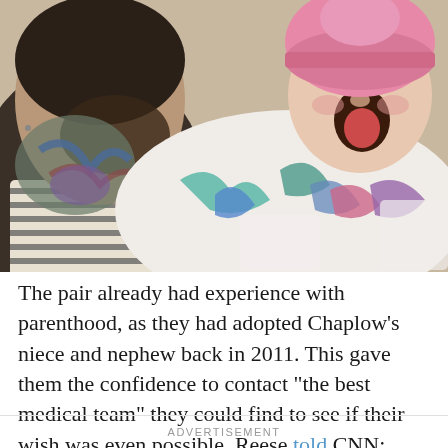[Figure (photo): A tattooed person holding a yawning newborn baby wrapped in a colorful patterned blanket. The baby is wearing a pink knit hat. The person is wearing a striped shirt and has visible tattoos on their neck and chest.]
The pair already had experience with parenthood, as they had adopted Chaplow's niece and nephew back in 2011. This gave them the confidence to contact “the best medical team” they could find to see if their wish was even possible. Reese told CNN:
ADVERTISEMENT